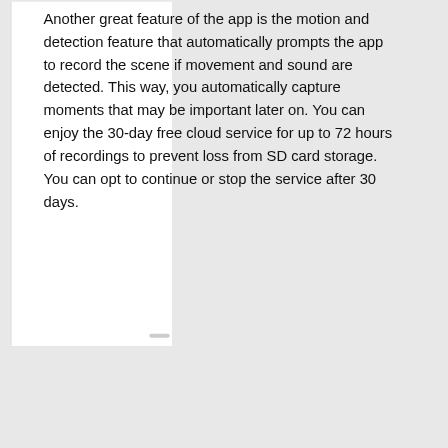Another great feature of the app is the motion and detection feature that automatically prompts the app to record the scene if movement and sound are detected. This way, you automatically capture moments that may be important later on. You can enjoy the 30-day free cloud service for up to 72 hours of recordings to prevent loss from SD card storage. You can opt to continue or stop the service after 30 days.